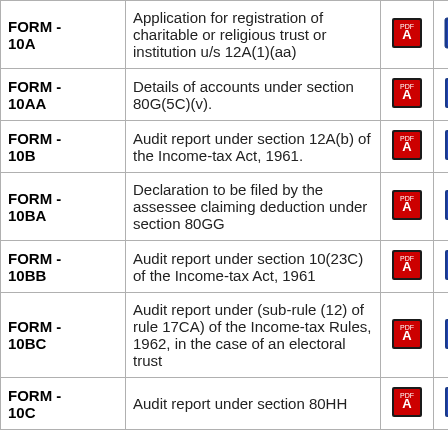| Form | Description | PDF | Word | Excel |
| --- | --- | --- | --- | --- |
| FORM - 10A | Application for registration of charitable or religious trust or institution u/s 12A(1)(aa) | [PDF] | [W] | [XL] |
| FORM - 10AA | Details of accounts under section 80G(5C)(v). | [PDF] | [W] | [XL] |
| FORM - 10B | Audit report under section 12A(b) of the Income-tax Act, 1961. | [PDF] | [W] | [XL] |
| FORM - 10BA | Declaration to be filed by the assessee claiming deduction under section 80GG | [PDF] | [W] | [XL] |
| FORM - 10BB | Audit report under section 10(23C) of the Income-tax Act, 1961 | [PDF] | [W] | [XL] |
| FORM - 10BC | Audit report under (sub-rule (12) of rule 17CA) of the Income-tax Rules, 1962, in the case of an electoral trust | [PDF] | [W] | [XL] |
| FORM - 10C | Audit report under section 80HH | [PDF] | [W] | [XL] |